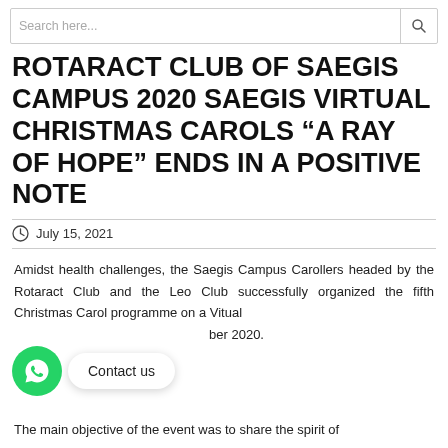Search here...
ROTARACT CLUB OF SAEGIS CAMPUS 2020 SAEGIS VIRTUAL CHRISTMAS CAROLS “A RAY OF HOPE” ENDS IN A POSITIVE NOTE
July 15, 2021
Amidst health challenges, the Saegis Campus Carollers headed by the Rotaract Club and the Leo Club successfully organized the fifth Christmas Carol programme on a Vitual ... ber 2020.
The main objective of the event was to share the spirit of